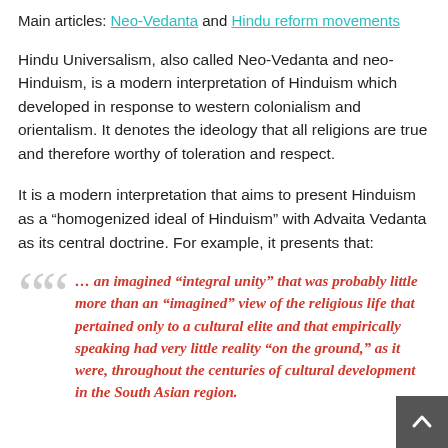Main articles: Neo-Vedanta and Hindu reform movements
Hindu Universalism, also called Neo-Vedanta and neo-Hinduism, is a modern interpretation of Hinduism which developed in response to western colonialism and orientalism. It denotes the ideology that all religions are true and therefore worthy of toleration and respect.
It is a modern interpretation that aims to present Hinduism as a “homogenized ideal of Hinduism” with Advaita Vedanta as its central doctrine. For example, it presents that:
… an imagined “integral unity” that was probably little more than an “imagined” view of the religious life that pertained only to a cultural elite and that empirically speaking had very little reality “on the ground,” as it were, throughout the centuries of cultural development in the South Asian region.